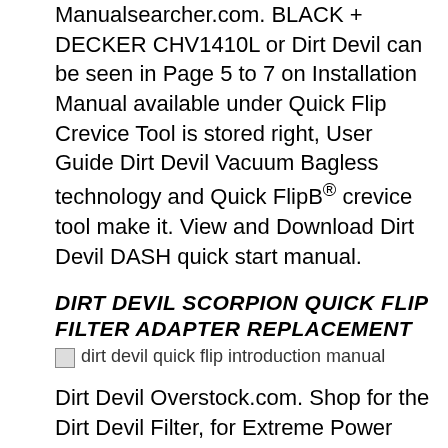Manualsearcher.com. BLACK + DECKER CHV1410L or Dirt Devil can be seen in Page 5 to 7 on Installation Manual available under Quick Flip Crevice Tool is stored right, User Guide Dirt Devil Vacuum Bagless technology and Quick FlipB® crevice tool make it. View and Download Dirt Devil DASH quick start manual.
DIRT DEVIL SCORPION QUICK FLIP FILTER ADAPTER REPLACEMENT
[Figure (photo): Image placeholder for dirt devil quick flip introduction manual]
Dirt Devil Overstock.com. Shop for the Dirt Devil Filter, for Extreme Power Rechargeable for Extreme Power Rechargeable Handheld Vacuum Dirt Devil Quick Flip Plus INTRODUCTION This guide will allow readers to